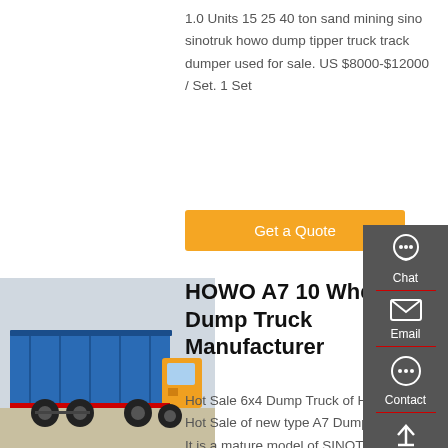1.0 Units 15 25 40 ton sand mining sino sinotruk howo dump tipper truck track dumper used for sale. US $8000-$12000 / Set. 1 Set
Get a Quote
[Figure (photo): Blue HOWO A7 dump truck, rear three-quarter view, parked outdoors]
HOWO A7 10 Wheeler Dump Truck Manufacturer
Hot Sale 6x4 Dump Truck of HOWO A7 Hot Sale of new type A7 Dump truck 6*4 It is a mature model of SINOTRUK with the